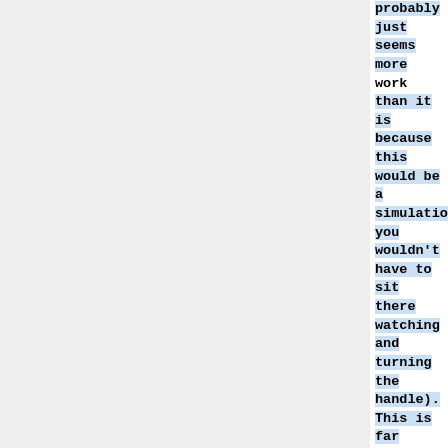probably just seems more work than it is because this would be a simulation, you wouldn't have to sit there watching and turning the handle). This is far far away and we should probably just go with probability/damage fraction as input for